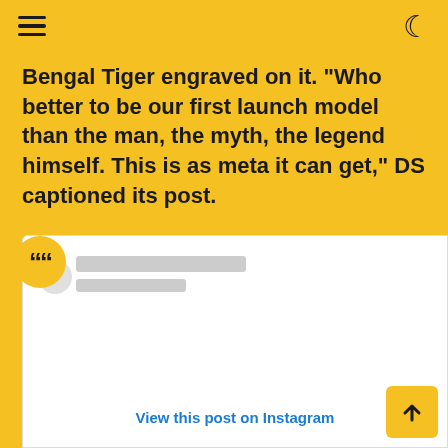Navigation header with hamburger menu and dark mode toggle
Bengal Tiger engraved on it. "Who better to be our first launch model than the man, the myth, the legend himself. This is as meta it can get," DS captioned its post.
[Figure (screenshot): Embedded Instagram post embed card with quote bubble, blurred profile name and avatar, Instagram logo, and 'View this post on Instagram' link]
View this post on Instagram